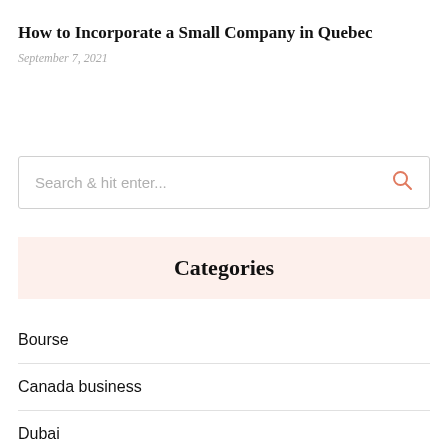How to Incorporate a Small Company in Quebec
September 7, 2021
Search & hit enter...
Categories
Bourse
Canada business
Dubai